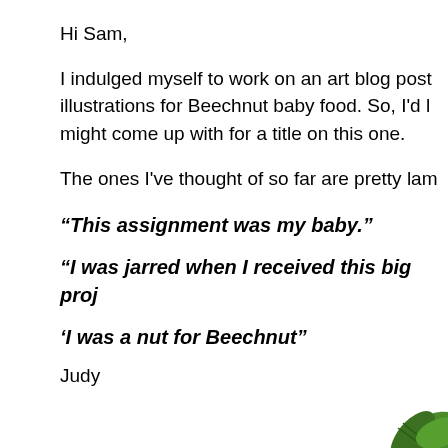Hi Sam,
I indulged myself to work on an art blog post about my illustrations for Beechnut baby food. So, I'd like to know what you might come up with for a title on this one.
The ones I've thought of so far are pretty lame:
“This assignment was my baby.”
“I was jarred when I received this big project.”
‘I was a nut for Beechnut”
Judy